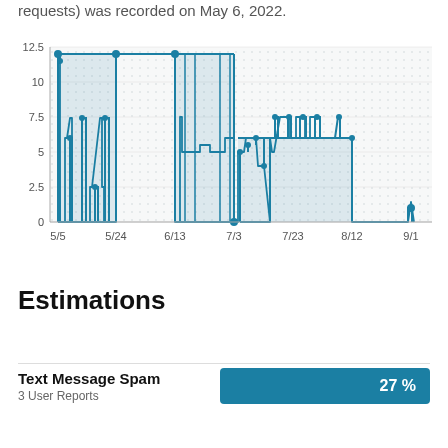requests) was recorded on May 6, 2022.
[Figure (continuous-plot): Step/candlestick-style line chart showing data from 5/5 to 9/1. Y-axis ranges 0 to 12.5 with gridlines at 0, 2.5, 5, 7.5, 10, 12.5. X-axis labels: 5/5, 5/24, 6/13, 7/3, 7/23, 8/12, 9/1. Teal step lines with dots at key points showing activity peaks around 12 near 5/5 and 6/13 ranges, moderate activity around 6-7 in the 7/3-7/23 range, near zero from 8/12 onward.]
Estimations
Text Message Spam
3 User Reports
27 %